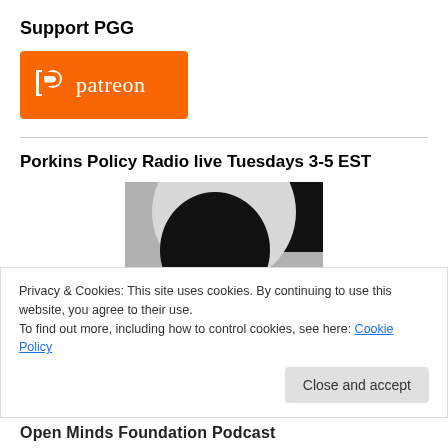Support PGG
[Figure (logo): Patreon logo — orange rectangle with white Patreon wordmark and icon]
Porkins Policy Radio live Tuesdays 3-5 EST
[Figure (photo): Ochelli Effect podcast logo — black and white circular graphic with text 'ochelli effect' and 'revelation through conversation']
Privacy & Cookies: This site uses cookies. By continuing to use this website, you agree to their use.
To find out more, including how to control cookies, see here: Cookie Policy
Close and accept
Open Minds Foundation Podcast